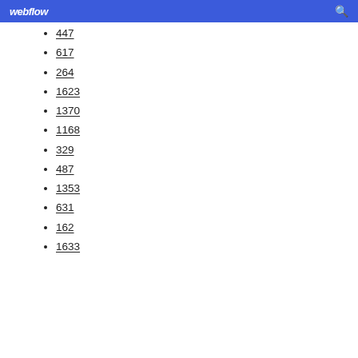webflow
447
617
264
1623
1370
1168
329
487
1353
631
162
1633